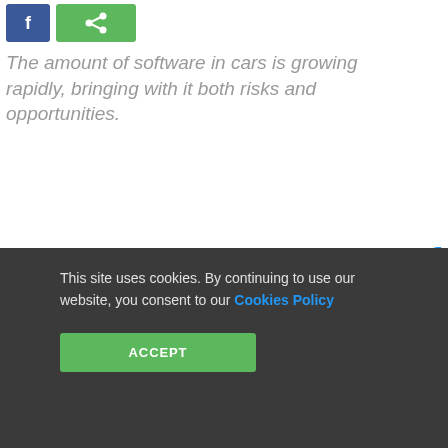[Figure (other): Social sharing buttons: Facebook (blue) and share (green) icons]
The amount of software in cars is growing rapidly, bringing with it both risks and opportunities.
JUNE 7TH, 2018 - BY: ROBERT VAMOSI
At the heart of the very cool intelligent connected vehicles (ICVs) of tomorrow is sophisticated software with artificial intelligence and powerful silicon chips all working together. These technologies will
This site uses cookies. By continuing to use our website, you consent to our Cookies Policy ACCEPT